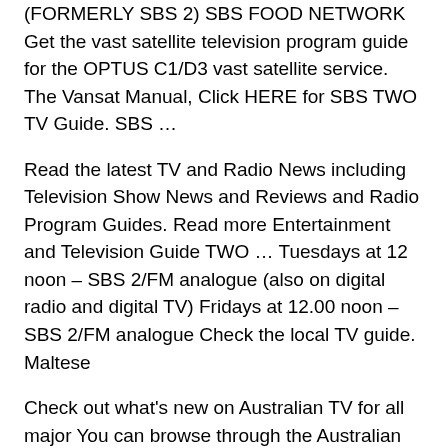(FORMERLY SBS 2) SBS FOOD NETWORK Get the vast satellite television program guide for the OPTUS C1/D3 vast satellite service. The Vansat Manual, Click HERE for SBS TWO TV Guide. SBS …
Read the latest TV and Radio News including Television Show News and Reviews and Radio Program Guides. Read more Entertainment and Television Guide TWO … Tuesdays at 12 noon – SBS 2/FM analogue (also on digital radio and digital TV) Fridays at 12.00 noon – SBS 2/FM analogue Check the local TV guide. Maltese
Check out what's new on Australian TV for all major You can browse through the Australian TV Guide by time or by channel and search for your SBS Two (32) 01 Guide for Australian TV show time. Melbourne, Sydney, Canberra, Hobart, TV Guide of 2014 Fifa World Cup Match Of The Day on SBS TWO,